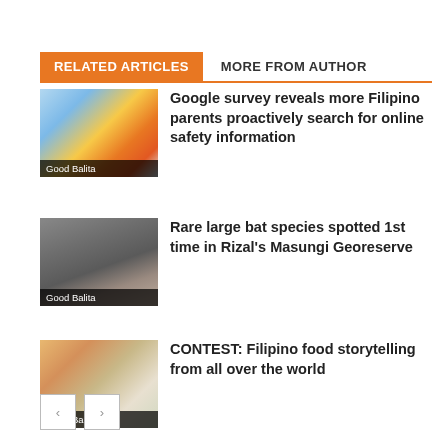RELATED ARTICLES   MORE FROM AUTHOR
[Figure (photo): Colorful Google-branded bus/float with people, Philippine flag elements. Badge: Good Balita]
Google survey reveals more Filipino parents proactively search for online safety information
[Figure (photo): Close-up of a large bat and monkey face in dark setting. Badge: Good Balita]
Rare large bat species spotted 1st time in Rizal's Masungi Georeserve
[Figure (photo): Food items, fruits and a handwritten notebook/journal. Badge: Good Balita]
CONTEST: Filipino food storytelling from all over the world